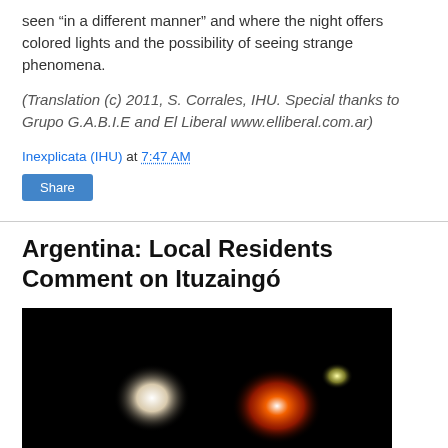seen “in a different manner” and where the night offers colored lights and the possibility of seeing strange phenomena.
(Translation (c) 2011, S. Corrales, IHU. Special thanks to Grupo G.A.B.I.E and El Liberal www.elliberal.com.ar)
Inexplicata (IHU) at 7:47 AM
Share
Argentina: Local Residents Comment on Ituzaingó
[Figure (photo): Dark photograph showing colored glowing lights on a black background — multiple orbs of white, red/orange glowing forms suggesting UFO or anomalous lights]